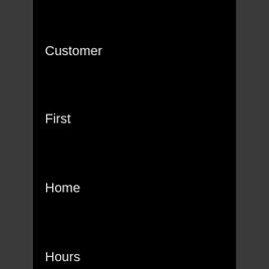Customer
First
Home
Hours
Jose
Locations
Login
Near
Number